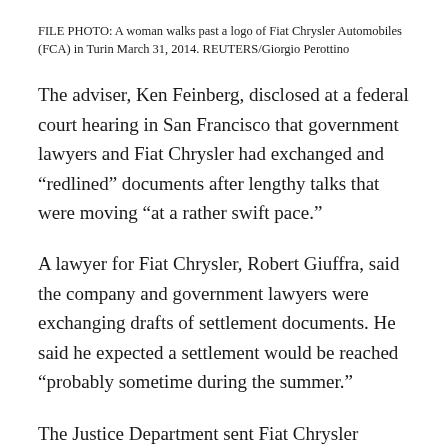FILE PHOTO: A woman walks past a logo of Fiat Chrysler Automobiles (FCA) in Turin March 31, 2014. REUTERS/Giorgio Perottino
The adviser, Ken Feinberg, disclosed at a federal court hearing in San Francisco that government lawyers and Fiat Chrysler had exchanged and “redlined” documents after lengthy talks that were moving “at a rather swift pace.”
A lawyer for Fiat Chrysler, Robert Giuffra, said the company and government lawyers were exchanging drafts of settlement documents. He said he expected a settlement would be reached “probably sometime during the summer.”
The Justice Department sent Fiat Chrysler lawyers a